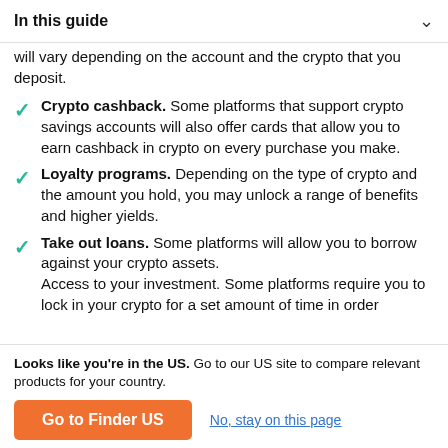In this guide
will vary depending on the account and the crypto that you deposit.
Crypto cashback. Some platforms that support crypto savings accounts will also offer cards that allow you to earn cashback in crypto on every purchase you make.
Loyalty programs. Depending on the type of crypto and the amount you hold, you may unlock a range of benefits and higher yields.
Take out loans. Some platforms will allow you to borrow against your crypto assets. Access to your investment. Some platforms require you to lock in your crypto for a set amount of time in order
Looks like you're in the US. Go to our US site to compare relevant products for your country.
Go to Finder US
No, stay on this page